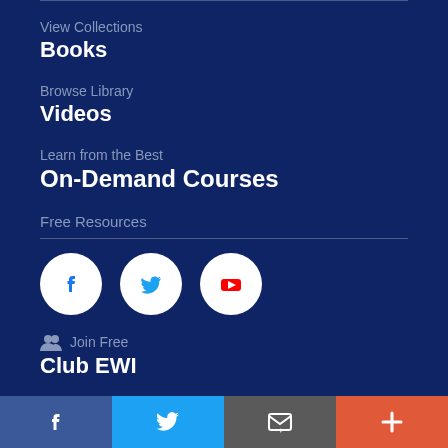View Collections
Books
Browse Library
Videos
Learn from the Best
On-Demand Courses
Free Resources
[Figure (logo): Social media icons: Facebook, Twitter, YouTube in white circles on dark blue background]
Join Free
Club EWI
Facebook | Twitter | Email | Plus — bottom navigation bar